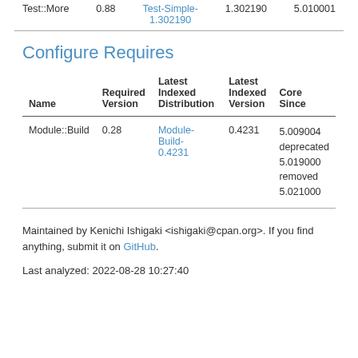| Name | Required Version | Latest Indexed Distribution | Latest Indexed Version | Core Since |
| --- | --- | --- | --- | --- |
| Test::More | 0.88 | Test-Simple-1.302190 | 1.302190 | 5.010001 |
Configure Requires
| Name | Required Version | Latest Indexed Distribution | Latest Indexed Version | Core Since |
| --- | --- | --- | --- | --- |
| Module::Build | 0.28 | Module-Build-0.4231 | 0.4231 | 5.009004 deprecated 5.019000 removed 5.021000 |
Maintained by Kenichi Ishigaki <ishigaki@cpan.org>. If you find anything, submit it on GitHub.
Last analyzed: 2022-08-28 10:27:40